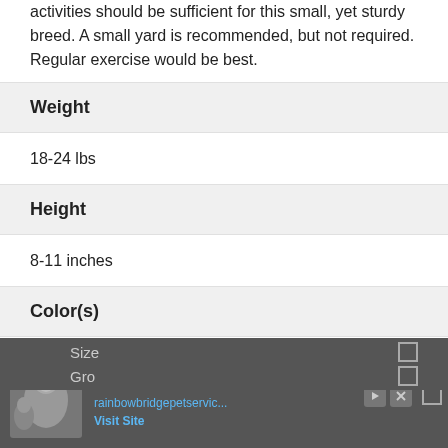activities should be sufficient for this small, yet sturdy breed. A small yard is recommended, but not required. Regular exercise would be best.
Weight
18-24 lbs
Height
8-11 inches
Color(s)
pepper (all shades of gray and silver) or mustard (all shades of brown and fawn). Dandie Dinmont puppies are much darker than adults.
Characteristics
Size
Gro...
[Figure (other): Advertisement banner: Rainbow Bridge Pet Services - Private Pet Cremation. URL: rainbowbridgepetservic... Visit Site]